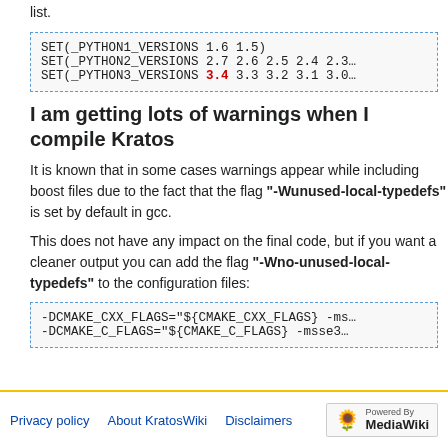list.
SET(_PYTHON1_VERSIONS 1.6 1.5)
SET(_PYTHON2_VERSIONS 2.7 2.6 2.5 2.4 2.3…)
SET(_PYTHON3_VERSIONS 3.4 3.3 3.2 3.1 3.0…)
I am getting lots of warnings when I compile Kratos
It is known that in some cases warnings appear while including boost files due to the fact that the flag "-Wunused-local-typedefs" is set by default in gcc.
This does not have any impact on the final code, but if you want a cleaner output you can add the flag "-Wno-unused-local-typedefs" to the configuration files:
-DCMAKE_CXX_FLAGS="${CMAKE_CXX_FLAGS} -ms…
-DCMAKE_C_FLAGS="${CMAKE_C_FLAGS} -msse3…
Privacy policy   About KratosWiki   Disclaimers   Powered by MediaWiki